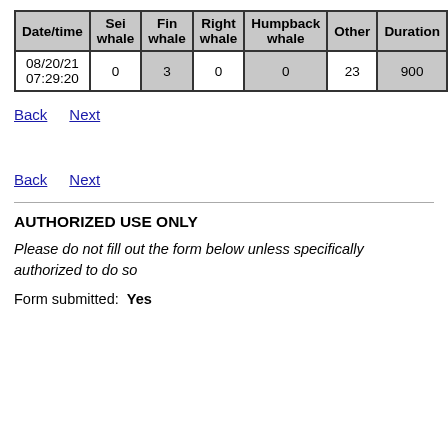| Date/time | Sei whale | Fin whale | Right whale | Humpback whale | Other | Duration |
| --- | --- | --- | --- | --- | --- | --- |
| 08/20/21 07:29:20 | 0 | 3 | 0 | 0 | 23 | 900 |
Back   Next
Back   Next
AUTHORIZED USE ONLY
Please do not fill out the form below unless specifically authorized to do so
Form submitted:  Yes